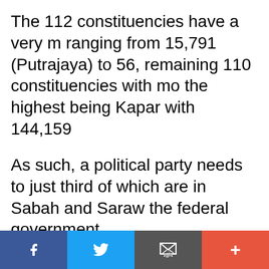The 112 constituencies have a very m ranging from 15,791 (Putrajaya) to 56, remaining 110 constituencies with mo the highest being Kapar with 144,159
As such, a political party needs to just third of which are in Sabah and Saraw the federal government.
Calculations by theSun show that if a 112 seats, it would only need to get ab